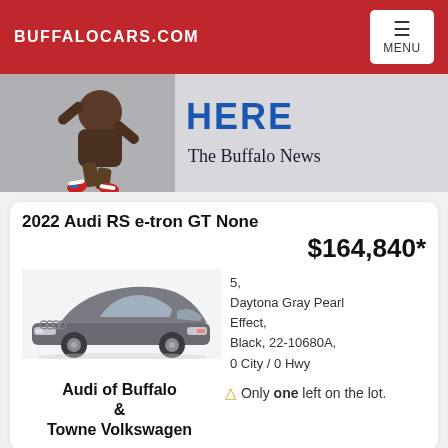BUFFALOCARS.COM
[Figure (photo): Advertisement banner showing athlete dunking with 'HERE' text in blue and 'The Buffalo News' branding]
2022 Audi RS e-tron GT None
$164,840*
[Figure (photo): Photo of a gray 2022 Audi RS e-tron GT sedan]
5, Daytona Gray Pearl Effect, Black, 22-10680A, 0 City / 0 Hwy
Audi of Buffalo & Towne Volkswagen
⚠ Only one left on the lot.